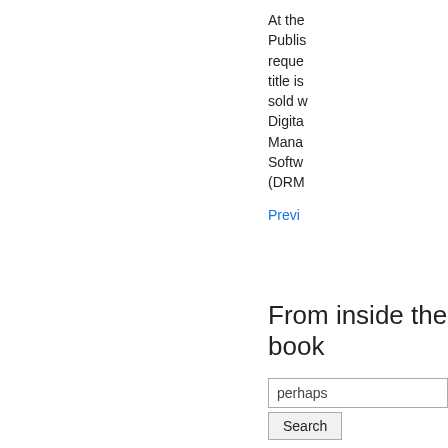At the request of the Publisher, this title is sold with Digital Rights Management Software (DRM
Previ
From inside the book
perhaps
Search
Results 1-5 of 26
Page xv
The convention of the time machine , however ,